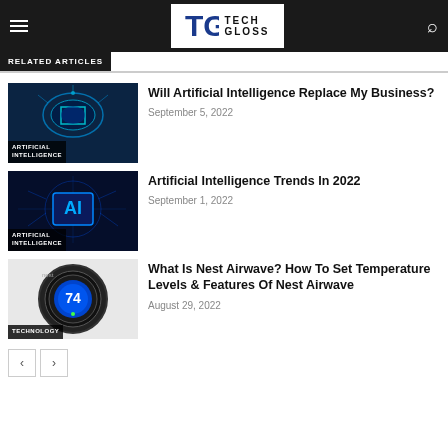Tech Gloss
RELATED ARTICLES
[Figure (photo): Glowing blue AI brain graphic with circuit elements. Label: ARTIFICIAL INTELLIGENCE]
Will Artificial Intelligence Replace My Business?
September 5, 2022
[Figure (photo): Dark blue AI chip graphic with 'AI' text in a circuit box. Label: ARTIFICIAL INTELLIGENCE]
Artificial Intelligence Trends In 2022
September 1, 2022
[Figure (photo): Nest smart thermostat showing temperature 74. Label: TECHNOLOGY]
What Is Nest Airwave? How To Set Temperature Levels & Features Of Nest Airwave
August 29, 2022